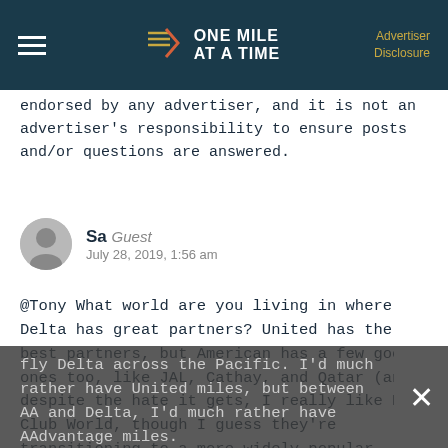ONE MILE AT A TIME — Advertiser Disclosure
endorsed by any advertiser, and it is not an advertiser's responsibility to ensure posts and/or questions are answered.
Sa Guest
July 28, 2019, 1:56 am
@Tony What world are you living in where Delta has great partners? United has the best partners, but American has a few good ones too, like JAL, Cathay, and Qatar (and despite the hate it gets, I really like BA Club World, though I guess they're transitioning to a more widely popular layout). What does Delta have? China Eastern? I'd rather fly Delta across the Pacific. I'd much rather have United miles, but between AA and Delta, I'd much rather have AAdvantage miles.